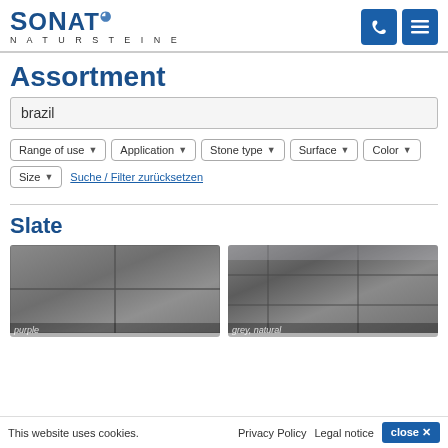SoNat Natursteine
Assortment
brazil
Range of use
Application
Stone type
Surface
Color
Size
Suche / Filter zurücksetzen
Slate
[Figure (photo): Photo of slate tiles in purple/dark grey color, natural surface]
purple
[Figure (photo): Photo of slate tiles in grey natural surface]
grey, natural
This website uses cookies.  Privacy Policy  Legal notice  close ✕